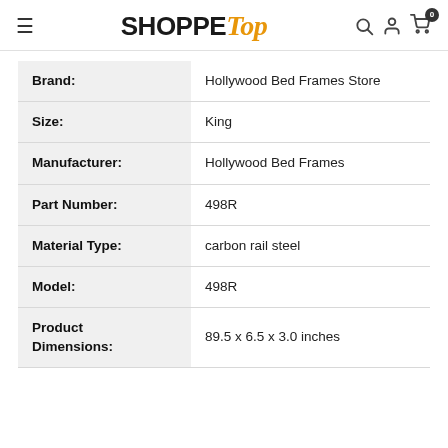SHOPPE Top
| Attribute | Value |
| --- | --- |
| Brand: | Hollywood Bed Frames Store |
| Size: | King |
| Manufacturer: | Hollywood Bed Frames |
| Part Number: | 498R |
| Material Type: | carbon rail steel |
| Model: | 498R |
| Product Dimensions: | 89.5 x 6.5 x 3.0 inches |